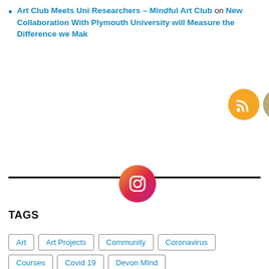Art Club Meets Uni Researchers – Mindful Art Club on New Collaboration With Plymouth University will Measure the Difference we Make
[Figure (infographic): Row of social media icons: RSS (orange), Email (tan/gold), Facebook (blue), Twitter (light blue), YouTube (red), and Instagram (gradient pink/orange circle) centered on a horizontal black divider line]
TAGS
Art
Art Projects
Community
Coronavirus
Courses
Covid 19
Devon MInd
Devon Recovery Learning Community
Events
Facebook
Free printable